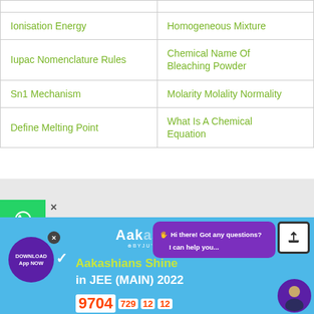| Ionisation Energy | Homogeneous Mixture |
| Iupac Nomenclature Rules | Chemical Name Of Bleaching Powder |
| Sn1 Mechanism | Molarity Molality Normality |
| Define Melting Point | What Is A Chemical Equation |
[Figure (screenshot): Aakash BYJU'S advertisement banner showing 'Aakashians Shine in JEE (MAIN) 2022' with results, download app button, chat bubble saying 'Hi there! Got any questions? I can help you...', social media sidebar buttons (WhatsApp, share, phone), and upload arrow button.]